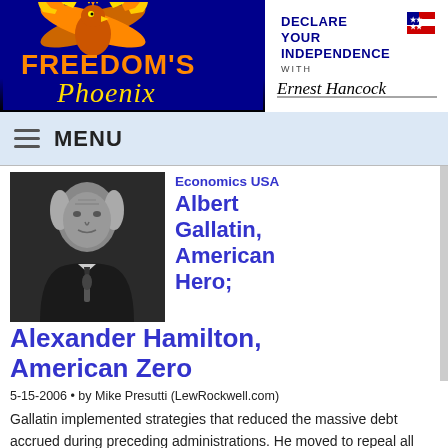[Figure (logo): Freedom's Phoenix logo with phoenix bird and blue background on the left, and 'Declare Your Independence with Ernest Hancock' logo on the right]
MENU
[Figure (photo): Black and white portrait photo of Albert Gallatin, an older man in formal attire]
Economics USA
Albert Gallatin, American Hero; Alexander Hamilton, American Zero
5-15-2006 • by Mike Presutti (LewRockwell.com)
Gallatin implemented strategies that reduced the massive debt accrued during preceding administrations. He moved to repeal all internal taxation, sharply curtailed federal spending and changed how the Treasury itemized its expenditures for Congressio
Make a Comment • Email Link • Send Letter to Editor